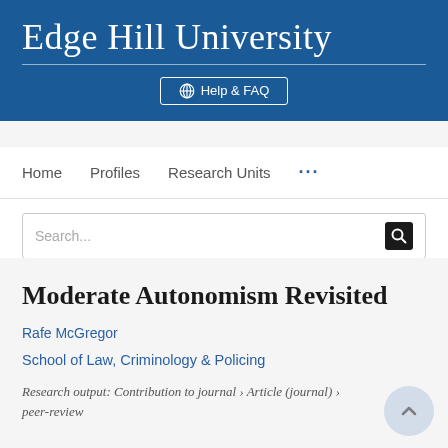Edge Hill University
[Figure (logo): Edge Hill University logo/header with blue background and white serif text]
Help & FAQ
Home   Profiles   Research Units   ...
Search...
Moderate Autonomism Revisited
Rafe McGregor
School of Law, Criminology & Policing
Research output: Contribution to journal › Article (journal) › peer-review